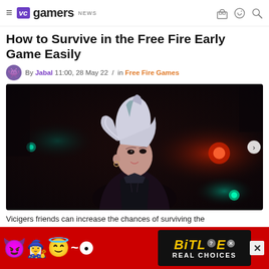VC gamers NEWS
How to Survive in the Free Fire Early Game Easily
By Jabal 11:00, 28 May 22 / in Free Fire Games
[Figure (photo): Free Fire game character — a young woman with silver-white hair in a ponytail wearing a black leather jacket, against a dark moody background with red and teal lighting.]
Vicigers friends can increase the chances of surviving the early ...
[Figure (advertisement): BitLife Real Choices advertisement banner with emoji characters (devil, woman, angel) on a red background, with the BitLife logo and 'REAL CHOICES' text on a dark background.]